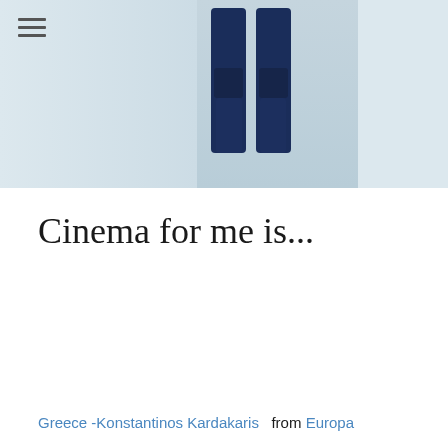[Figure (photo): Partial photo of a person showing legs in dark blue jeans standing against a white/light blue wall background, with a hamburger menu icon overlay in the top-left corner]
Cinema for me is...
Greece -Konstantinos Kardakaris  from  Europa